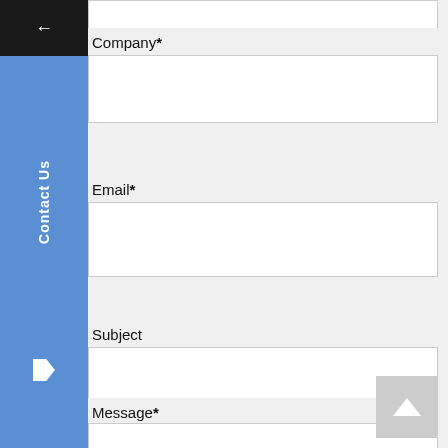[Figure (screenshot): Web contact form page showing fields: Company*, Email*, Subject, Message* with a blue sidebar labeled Contact Us on the left and a scroll-to-top button at the bottom right.]
Company*
Email*
Subject
Message*